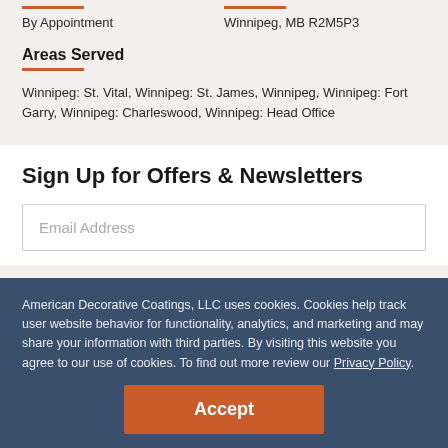By Appointment
Winnipeg, MB R2M5P3
Areas Served
Winnipeg: St. Vital, Winnipeg: St. James, Winnipeg, Winnipeg: Fort Garry, Winnipeg: Charleswood, Winnipeg: Head Office
Sign Up for Offers & Newsletters
Email Address
American Decorative Coatings, LLC uses cookies. Cookies help track user website behavior for functionality, analytics, and marketing and may share your information with third parties. By visiting this website you agree to our use of cookies. To find out more review our Privacy Policy.
Accept